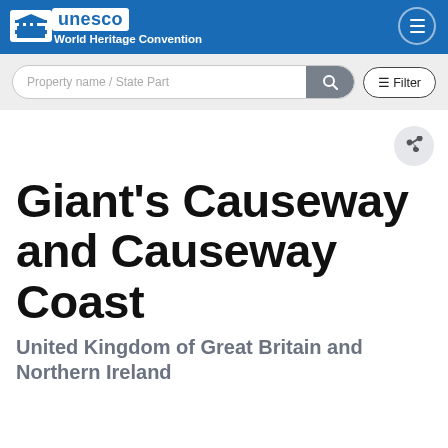UNESCO World Heritage Convention
[Figure (screenshot): UNESCO World Heritage Convention website header with logo and navigation]
Giant's Causeway and Causeway Coast
United Kingdom of Great Britain and Northern Ireland